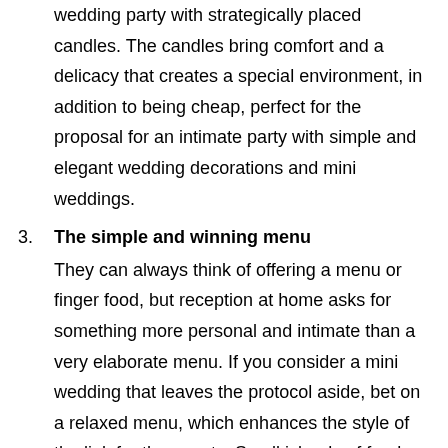wedding party with strategically placed candles. The candles bring comfort and a delicacy that creates a special environment, in addition to being cheap, perfect for the proposal for an intimate party with simple and elegant wedding decorations and mini weddings.
3. The simple and winning menu
They can always think of offering a menu or finger food, but reception at home asks for something more personal and intimate than a very elaborate menu. If you consider a mini wedding that leaves the protocol aside, bet on a relaxed menu, which enhances the style of the link for the guests. Small islands of food with individual portions can be a good option and, thus, the style of the dishes can follow the same light air regardless of the time, for example: